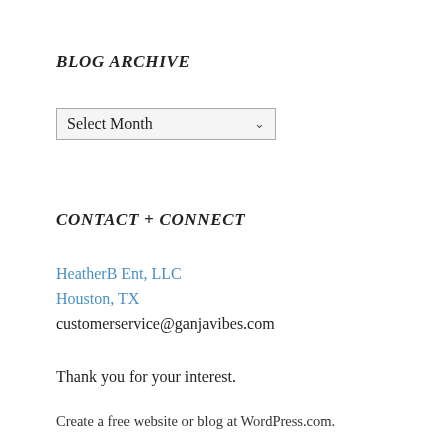BLOG ARCHIVE
[Figure (screenshot): A dropdown UI element showing 'Select Month' with a downward chevron arrow, rendered with a light gray background and border.]
CONTACT + CONNECT
HeatherB Ent, LLC
Houston, TX
customerservice@ganjavibes.com
Thank you for your interest.
Create a free website or blog at WordPress.com.